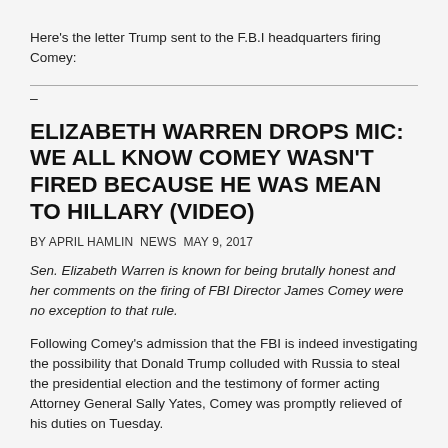Here's the letter Trump sent to the F.B.I headquarters firing Comey:
–
ELIZABETH WARREN DROPS MIC: WE ALL KNOW COMEY WASN'T FIRED BECAUSE HE WAS MEAN TO HILLARY (VIDEO)
BY APRIL HAMLIN NEWS MAY 9, 2017
Sen. Elizabeth Warren is known for being brutally honest and her comments on the firing of FBI Director James Comey were no exception to that rule.
Following Comey's admission that the FBI is indeed investigating the possibility that Donald Trump colluded with Russia to steal the presidential election and the testimony of former acting Attorney General Sally Yates, Comey was promptly relieved of his duties on Tuesday.
The White House is trying to say that he was fired because of his announcement that the investigation into Hillary Clinton's emails was being reopened, just days before the election. But